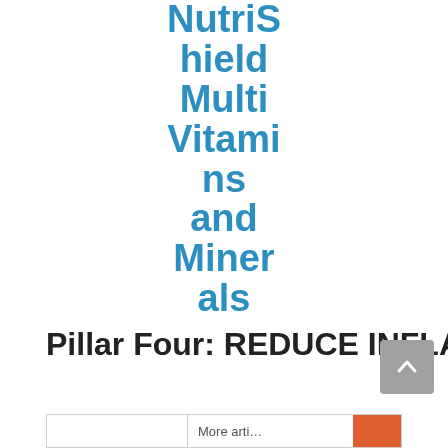NutriShield Multi Vitamins and Minerals
Pillar Four: REDUCE INFLAMMATION
[Figure (other): Gray scroll-to-top button with upward chevron arrow]
More arti…